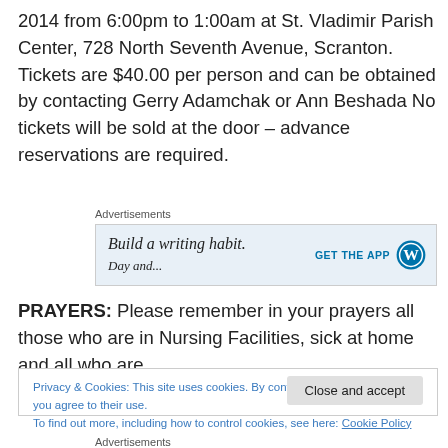2014 from 6:00pm to 1:00am at St. Vladimir Parish Center, 728 North Seventh Avenue, Scranton. Tickets are $40.00 per person and can be obtained by contacting Gerry Adamchak or Ann Beshada No tickets will be sold at the door – advance reservations are required.
Advertisements
[Figure (other): Advertisement banner: 'Build a writing habit.' with 'GET THE APP' button and WordPress logo]
PRAYERS: Please remember in your prayers all those who are in Nursing Facilities, sick at home and all who are
Privacy & Cookies: This site uses cookies. By continuing to use this website, you agree to their use.
To find out more, including how to control cookies, see here: Cookie Policy
Close and accept
Advertisements